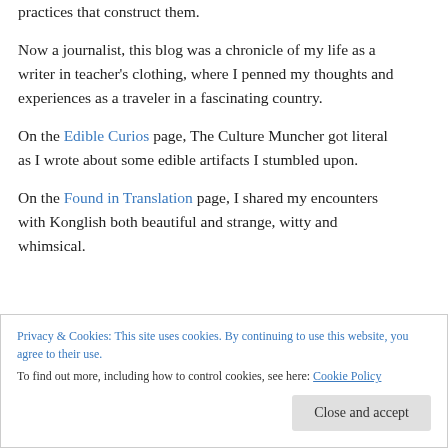practices that construct them.
Now a journalist, this blog was a chronicle of my life as a writer in teacher's clothing, where I penned my thoughts and experiences as a traveler in a fascinating country.
On the Edible Curios page, The Culture Muncher got literal as I wrote about some edible artifacts I stumbled upon.
On the Found in Translation page, I shared my encounters with Konglish both beautiful and strange, witty and whimsical.
Privacy & Cookies: This site uses cookies. By continuing to use this website, you agree to their use. To find out more, including how to control cookies, see here: Cookie Policy
Close and accept